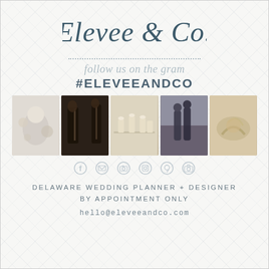[Figure (logo): Elevee & Co. scripted logo in dark teal/slate color]
follow us on the gram
#ELEVEEANDCO
[Figure (photo): Strip of 5 wedding photos showing: wedding cake with flowers, musicians with cello, reception table setting, couple on street, gold heels]
[Figure (infographic): Row of 6 social media icons: Facebook, email, camera, Instagram, Pinterest, camera]
DELAWARE WEDDING PLANNER + DESIGNER
BY APPOINTMENT ONLY
hello@eleveeandco.com